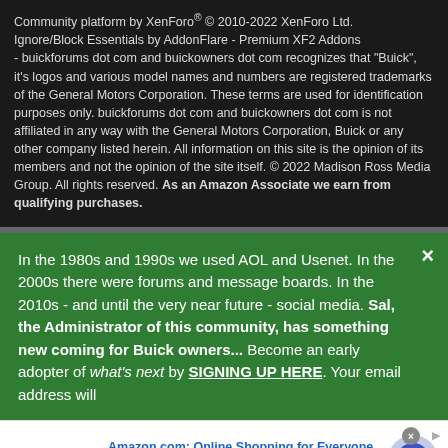Community platform by XenForo® © 2010-2022 XenForo Ltd. Ignore/Block Essentials by AddonFlare - Premium XF2 Addons - buickforums dot com and buickowners dot com recognizes that "Buick", it's logos and various model names and numbers are registered trademarks of the General Motors Corporation. These terms are used for identification purposes only. buickforums dot com and buickowners dot com is not affiliated in any way with the General Motors Corporation, Buick or any other company listed herein. All information on this site is the opinion of its members and not the opinion of the site itself. © 2022 Madison Ross Media Group. All rights reserved. As an Amazon Associate we earn from qualifying purchases.
In the 1980s and 1990s we used AOL and Usenet. In the 2000s there were forums and message boards. In the 2010s - and until the very near future - social media. Sal, the Administrator of this community, has something new coming for Buick owners... Become an early adopter of what's next by SIGNING UP HERE. Your email address will
[Figure (infographic): Amazon advertisement banner: Amazon logo on left with smile, title 'Amazon.com: Online Shopping for Everyone', subtitle 'Shop at Amazon. Free Shipping with Prime. Best Deals Ever!', URL 'amazon.com', blue circular arrow button on right]